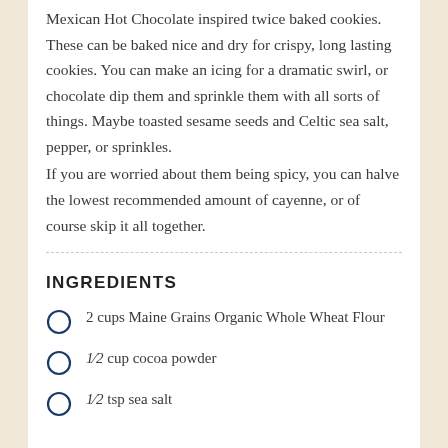Mexican Hot Chocolate inspired twice baked cookies. These can be baked nice and dry for crispy, long lasting cookies. You can make an icing for a dramatic swirl, or chocolate dip them and sprinkle them with all sorts of things. Maybe toasted sesame seeds and Celtic sea salt, pepper, or sprinkles.
If you are worried about them being spicy, you can halve the lowest recommended amount of cayenne, or of course skip it all together.
INGREDIENTS
2 cups Maine Grains Organic Whole Wheat Flour
½ cup cocoa powder
½ tsp sea salt